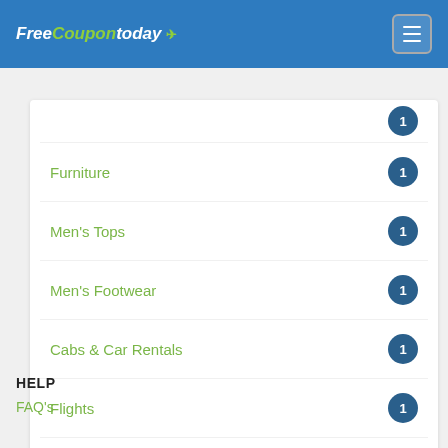FreeCouponToday [logo] [hamburger menu]
Furniture — 1
Men's Tops — 1
Men's Footwear — 1
Cabs & Car Rentals — 1
Flights — 1
Consumer Electronics — 1
Home & Kitchen — 1
HELP
FAQ's